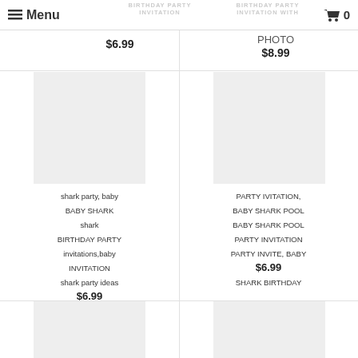Menu | BIRTHDAY PARTY INVITATION | BIRTHDAY PARTY INVITATION WITH | Cart 0
$6.99
PHOTO
$8.99
[Figure (photo): Product image placeholder for shark party invitation]
shark party, baby BABY SHARK shark BIRTHDAY PARTY invitations,baby INVITATION shark party ideas
$6.99
[Figure (photo): Product image placeholder for baby shark pool party invitation]
PARTY IVITATION, BABY SHARK POOL BABY SHARK POOL PARTY INVITATION PARTY INVITE, BABY
$6.99
SHARK BIRTHDAY PARTY INVITATION, BABY SHARK
[Figure (photo): Product image placeholder bottom left]
[Figure (photo): Product image placeholder bottom right]